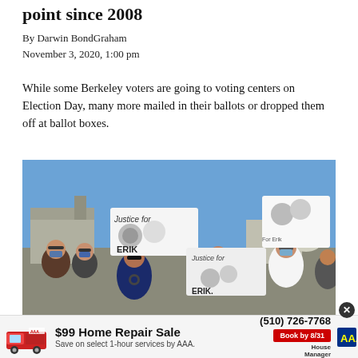point since 2008
By Darwin BondGraham
November 3, 2020, 1:00 pm
While some Berkeley voters are going to voting centers on Election Day, many more mailed in their ballots or dropped them off at ballot boxes.
[Figure (photo): People holding signs reading 'Justice for ERIK' with photos, wearing masks, at an outdoor demonstration]
$99 Home Repair Sale   (510) 726-7768   Save on select 1-hour services by AAA.   Book by 8/31   House Manager AAA